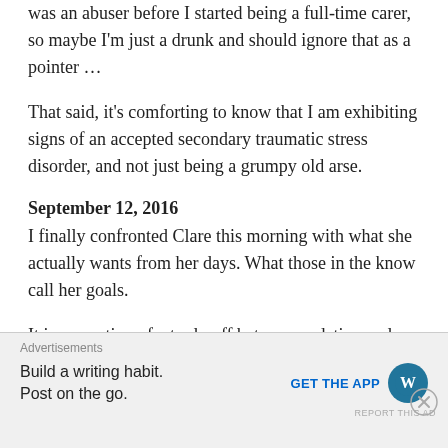was an abuser before I started being a full-time carer, so maybe I'm just a drunk and should ignore that as a pointer ...
That said, it's comforting to know that I am exhibiting signs of an accepted secondary traumatic stress disorder, and not just being a grumpy old arse.
September 12, 2016
I finally confronted Clare this morning with what she actually wants from her days. What those in the know call her goals.
It is a question of a trade-off between sedation and pain. The drugs ease the pain but, being a blunt instrument they heavily sedate. Alongside this is the
[Figure (other): Advertisement bar: 'Advertisements' label above, text 'Build a writing habit. Post on the go.' with 'GET THE APP' call to action and WordPress logo. Close button (X) in circle on right side. 'REPORT THIS AD' text at bottom right.]